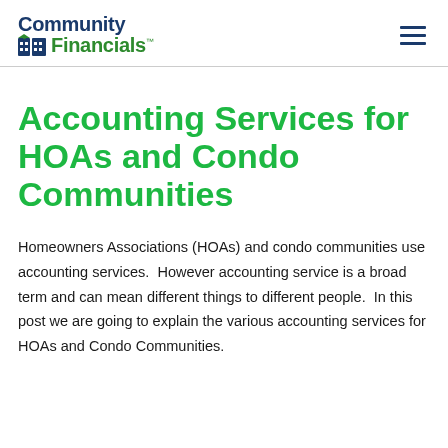Community Financials™
Accounting Services for HOAs and Condo Communities
Homeowners Associations (HOAs) and condo communities use accounting services.  However accounting service is a broad term and can mean different things to different people.  In this post we are going to explain the various accounting services for HOAs and Condo Communities.